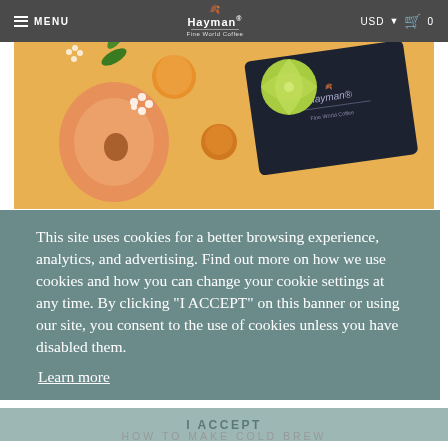MENU | Hayman Fine World Coffee | USD | 0
[Figure (photo): Product photo of Hayman coffee brand dark cutting board/notebook with fruits (peach, lime, apricots, flowers) on yellow/orange background]
This site uses cookies for a better browsing experience, analytics, and advertising. Find out more on how we use cookies and how you can change your cookie settings at any time. By clicking "I ACCEPT" on this banner or using our site, you consent to the use of cookies unless you have disabled them.
Learn more
I ACCEPT
HOW TO MAKE COLD BREW